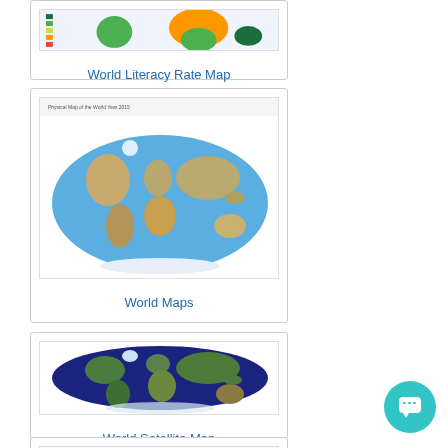[Figure (map): World Literacy Rate Map thumbnail showing colored world map]
World Literacy Rate Map
[Figure (map): Physical/topographic world map showing terrain in oval projection]
World Maps
[Figure (map): World Satellite Map showing Earth from space in oval projection with dark blue oceans and green/brown landmasses]
World Satellite Map
[Figure (map): Partial thumbnail of another world map at bottom of page]